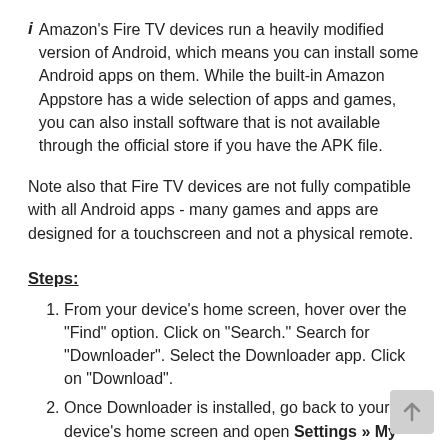Amazon's Fire TV devices run a heavily modified version of Android, which means you can install some Android apps on them. While the built-in Amazon Appstore has a wide selection of apps and games, you can also install software that is not available through the official store if you have the APK file.
Note also that Fire TV devices are not fully compatible with all Android apps - many games and apps are designed for a touchscreen and not a physical remote.
Steps:
From your device's home screen, hover over the "Find" option. Click on "Search." Search for "Downloader". Select the Downloader app. Click on "Download".
Once Downloader is installed, go back to your device's home screen and open Settings » My Fire